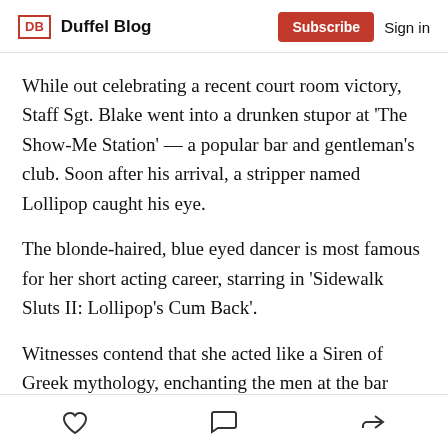DB Duffel Blog | Subscribe | Sign in
While out celebrating a recent court room victory, Staff Sgt. Blake went into a drunken stupor at 'The Show-Me Station' — a popular bar and gentleman's club. Soon after his arrival, a stripper named Lollipop caught his eye.
The blonde-haired, blue eyed dancer is most famous for her short acting career, starring in 'Sidewalk Sluts II: Lollipop's Cum Back'.
Witnesses contend that she acted like a Siren of Greek mythology, enchanting the men at the bar with a world